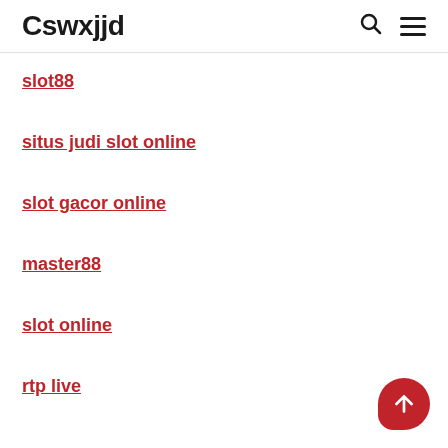Cswxjjd
slot88
situs judi slot online
slot gacor online
master88
slot online
rtp live